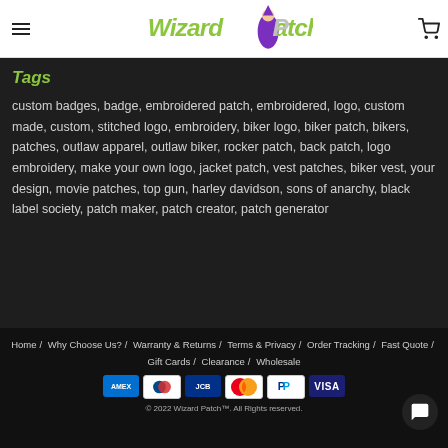Wizard Patch — navigation header with hamburger menu and cart icon
Tags
custom badges, badge, embroidered patch, embroidered, logo, custom made, custom, stitched logo, embroidery, biker logo, biker patch, bikers, patches, outlaw apparel, outlaw biker, rocker patch, back patch, logo embroidery, make your own logo, jacket patch, vest patches, biker vest, your design, movie patches, top gun, harley davidson, sons of anarchy, black label society, patch maker, patch creator, patch generator
Home / Why Choose Us? / Warranty & Returns / Terms & Privacy / Order Tracking / Fast Quote / Gift Cards / Clearance / Wholesale — Payment icons: AMEX, Diners, JCB, Mastercard, PayPal, VISA — © 2022 Wizard Patch™. All Rights reserved.